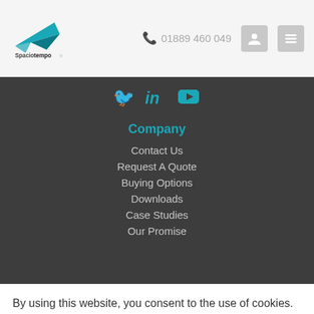[Figure (logo): Spaciotempo logo with teal angular shape above the text]
01889 460 049
[Figure (infographic): Social media icons: Twitter bird, LinkedIn 'in', YouTube play button — all in teal]
Company
Contact Us
Request A Quote
Buying Options
Downloads
Case Studies
Our Promise
By using this website, you consent to the use of cookies.
OK
Cookie settings